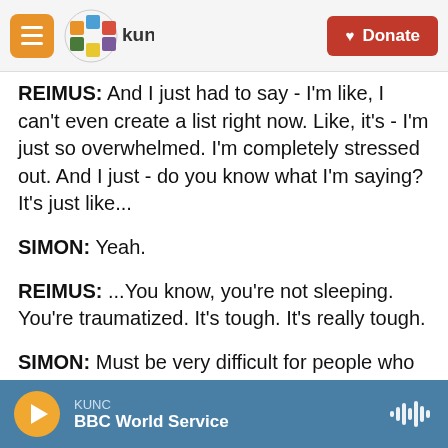KUNC logo and Donate button navigation bar
REIMUS: And I just had to say - I'm like, I can't even create a list right now. Like, it's - I'm just so overwhelmed. I'm completely stressed out. And I just - do you know what I'm saying? It's just like...
SIMON: Yeah.
REIMUS: ...You know, you're not sleeping. You're traumatized. It's tough. It's really tough.
SIMON: Must be very difficult for people who don't have a fixed address, who may be sleeping on someone's couch or in a gym, to begin to function and fill out forms and make follow-up calls and get
KUNC | BBC World Service